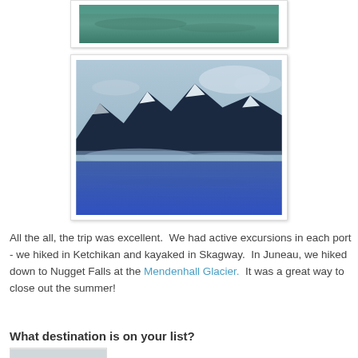[Figure (photo): Partial view of a photo showing water with teal/green tones — top of page, cropped]
[Figure (photo): Photo of snow-capped mountains and glacier/frozen landscape with blue tones, likely taken from a cruise ship near Alaska]
All the all, the trip was excellent.  We had active excursions in each port - we hiked in Ketchikan and kayaked in Skagway.  In Juneau, we hiked down to Nugget Falls at the Mendenhall Glacier.  It was a great way to close out the summer!
What destination is on your list?